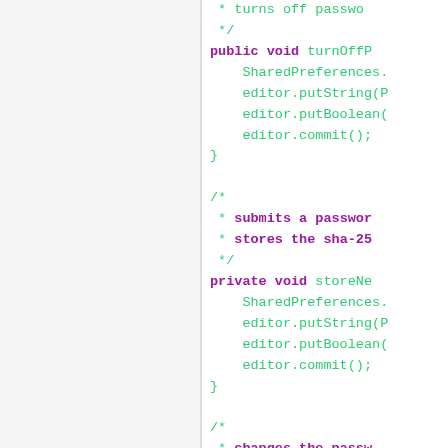[Figure (screenshot): Source code editor showing Java methods: turnOffP..., storeNe... (private void), and changePa... (public void), with SharedPreferences and editor calls. Left panel is a grey sidebar. Right panel shows syntax-highlighted Java code with comments in green and keywords in purple.]